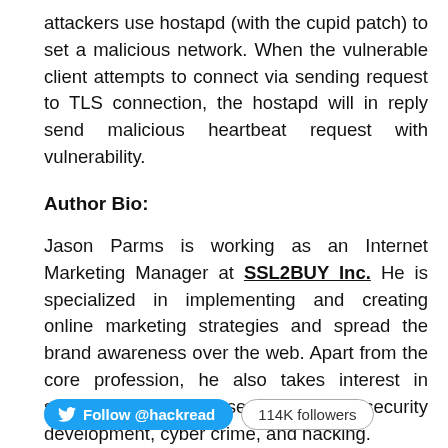attackers use hostapd (with the cupid patch) to set a malicious network. When the vulnerable client attempts to connect via sending request to TLS connection, the hostapd will in reply send malicious heartbeat request with vulnerability.
Author Bio:
Jason Parms is working as an Internet Marketing Manager at SSL2BUY Inc. He is specialized in implementing and creating online marketing strategies and spread the brand awareness over the web. Apart from the core profession, he also takes interest in subjects of cyber security, web security development, cyber crime, and hacking.
[Figure (other): Twitter Follow button showing '@hackread' and '114K followers' badge]